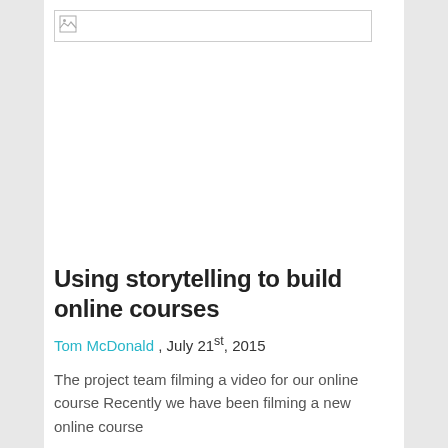[Figure (photo): Broken/unloaded image placeholder at top of page]
Using storytelling to build online courses
Tom McDonald , July 21st, 2015
The project team filming a video for our online course Recently we have been filming a new online course